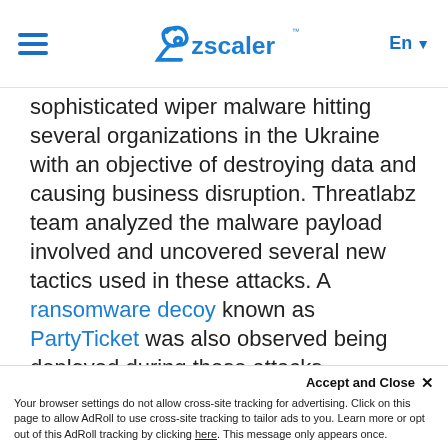Zscaler [logo] En
sophisticated wiper malware hitting several organizations in the Ukraine with an objective of destroying data and causing business disruption. Threatlabz team analyzed the malware payload involved and uncovered several new tactics used in these attacks. A ransomware decoy known as PartyTicket was also observed being deployed during these attacks.
In this blog, we will look at the technical details of these recent attacks targeting commercial and public entities in Ukraine.
1. HermeticWiper DoS Attack - Technical...
Your browser settings do not allow cross-site tracking for advertising. Click on this page to allow AdRoll to use cross-site tracking to tailor ads to you. Learn more or opt out of this AdRoll tracking by clicking here. This message only appears once.